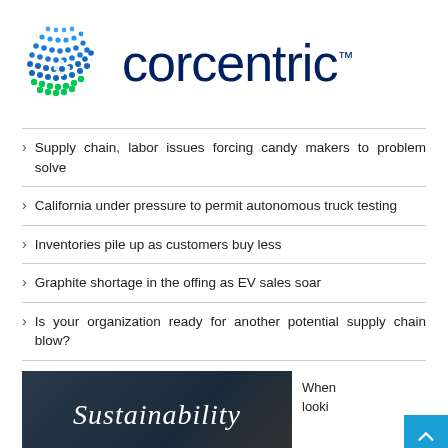[Figure (logo): Corcentric logo with dotted circle graphic (blue and green dots) and 'corcentric' wordmark in dark navy blue]
Supply chain, labor issues forcing candy makers to problem solve
California under pressure to permit autonomous truck testing
Inventories pile up as customers buy less
Graphite shortage in the offing as EV sales soar
Is your organization ready for another potential supply chain blow?
[Figure (photo): Dark chalkboard-style image with cursive white text reading 'Sustainability']
When looki